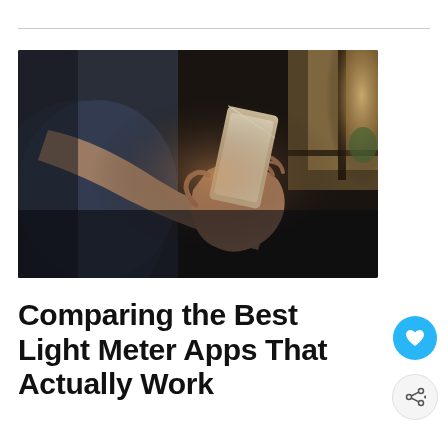[Figure (photo): A person in a dark blue shirt holding a gold/silver smartphone, photographed from the side with a window with warm light visible in the background. Dark, moody atmosphere.]
Comparing the Best Light Meter Apps That Actually Work